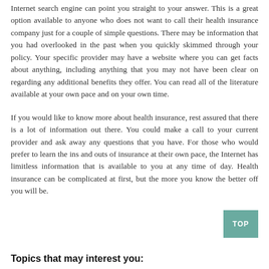Internet search engine can point you straight to your answer. This is a great option available to anyone who does not want to call their health insurance company just for a couple of simple questions. There may be information that you had overlooked in the past when you quickly skimmed through your policy. Your specific provider may have a website where you can get facts about anything, including anything that you may not have been clear on regarding any additional benefits they offer. You can read all of the literature available at your own pace and on your own time.
If you would like to know more about health insurance, rest assured that there is a lot of information out there. You could make a call to your current provider and ask away any questions that you have. For those who would prefer to learn the ins and outs of insurance at their own pace, the Internet has limitless information that is available to you at any time of day. Health insurance can be complicated at first, but the more you know the better off you will be.
Topics that may interest you: